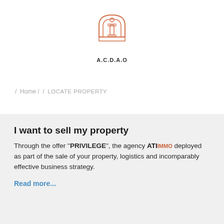[Figure (logo): A.C.D.A.O logo: an arch/doorway with a column inside, drawn in orange/salmon outline style, with text A.C.D.A.O below]
/ Home / / LOCATE PROPERTY
I want to sell my property
Through the offer "PRIVILEGE", the agency ATIimmo deployed as part of the sale of your property, logistics and incomparably effective business strategy.
Read more...